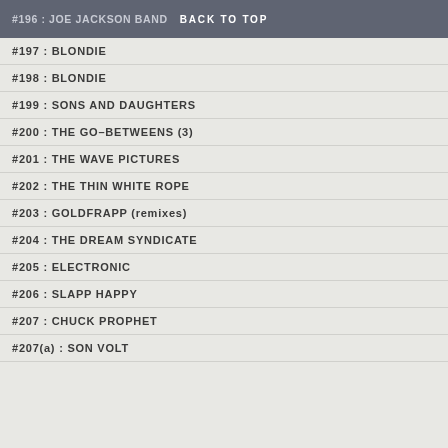#196 : JOE JACKSON BAND   BACK TO TOP
#197 : BLONDIE
#198 : BLONDIE
#199 : SONS AND DAUGHTERS
#200 : THE GO-BETWEENS (3)
#201 : THE WAVE PICTURES
#202 : THE THIN WHITE ROPE
#203 : GOLDFRAPP (remixes)
#204 : THE DREAM SYNDICATE
#205 : ELECTRONIC
#206 : SLAPP HAPPY
#207 : CHUCK PROPHET
#207(a) : SON VOLT